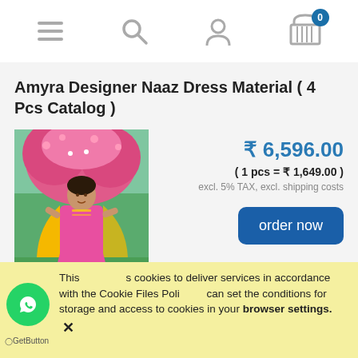Navigation bar with menu, search, account, and cart icons (0 items)
Amyra Designer Naaz Dress Material ( 4 Pcs Catalog )
[Figure (photo): Woman wearing a pink sharara suit with yellow dupatta, standing in a garden with pink flowers in the background]
₹ 6,596.00
( 1 pcs = ₹ 1,649.00 )
excl. 5% TAX, excl. shipping costs
order now
This uses cookies to deliver services in accordance with the Cookie Files Policy. You can set the conditions for storage and access to cookies in your browser settings. ✕